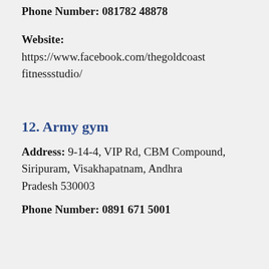Phone Number: 081782 48878
Website: https://www.facebook.com/thegoldcoastfitnessstudio/
12. Army gym
Address: 9-14-4, VIP Rd, CBM Compound, Siripuram, Visakhapatnam, Andhra Pradesh 530003
Phone Number: 0891 671 5001